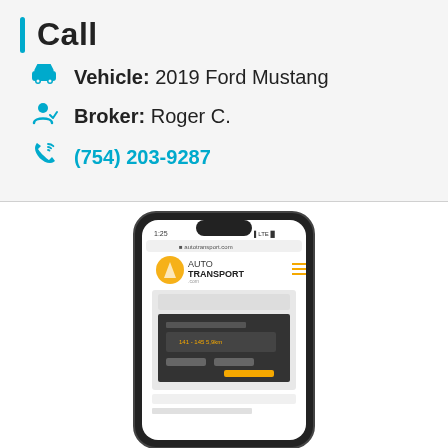Call
Vehicle: 2019 Ford Mustang
Broker: Roger C.
(754) 203-9287
[Figure (screenshot): Smartphone showing autotransport.com website with logo and quote form. Caption: From the quote to your driveway.]
From the quote to your driveway.